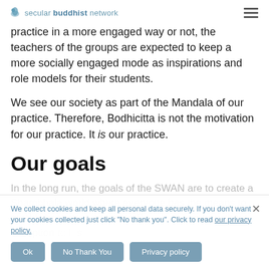secular buddhist network
practice in a more engaged way or not, the teachers of the groups are expected to keep a more socially engaged mode as inspirations and role models for their students.
We see our society as part of the Mandala of our practice. Therefore, Bodhicitta is not the motivation for our practice. It is our practice.
Our goals
In the long run, the goals of the SWAN are to create a Shambhala world where everyone has the means to quickly become a complete Bu... all beings without exception t... s...
We collect cookies and keep all personal data securely. If you don't want your cookies collected just click "No thank you". Click to read our privacy policy.